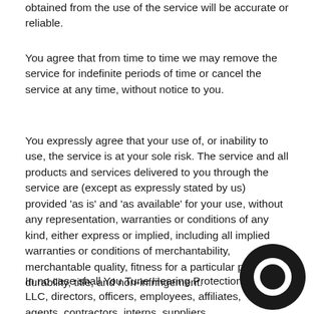obtained from the use of the service will be accurate or reliable.
You agree that from time to time we may remove the service for indefinite periods of time or cancel the service at any time, without notice to you.
You expressly agree that your use of, or inability to use, the service is at your sole risk. The service and all products and services delivered to you through the service are (except as expressly stated by us) provided 'as is' and 'as available' for your use, without any representation, warranties or conditions of any kind, either express or implied, including all implied warranties or conditions of merchantability, merchantable quality, fitness for a particular purpose, durability, title, and non-infringement.
In no case shall You Tune Hearing Protection LLC, directors, officers, employees, affiliates, agents, contractors, interns, suppliers, service providers or
[Figure (logo): Circular logo with a large letter O shape, dark/black color, bottom right corner]